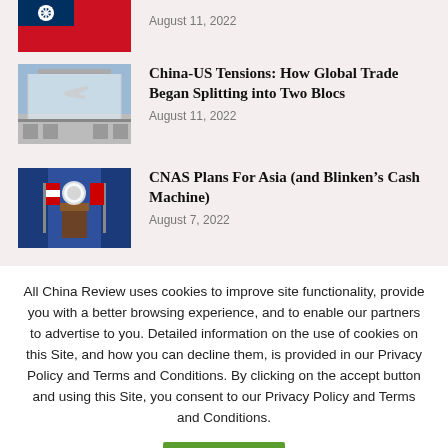[Figure (photo): Taiwan flag — partial view, top of page]
August 11, 2022
[Figure (photo): Airport terminal with airplane visible through glass]
China-US Tensions: How Global Trade Began Splitting into Two Blocs
August 11, 2022
[Figure (photo): White House press briefing podium with US flags and blue curtains]
CNAS Plans For Asia (and Blinken’s Cash Machine)
August 7, 2022
All China Review uses cookies to improve site functionality, provide you with a better browsing experience, and to enable our partners to advertise to you. Detailed information on the use of cookies on this Site, and how you can decline them, is provided in our Privacy Policy and Terms and Conditions. By clicking on the accept button and using this Site, you consent to our Privacy Policy and Terms and Conditions.
Accept